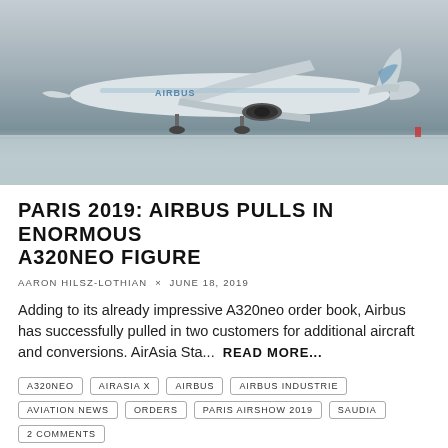[Figure (photo): Airbus A320neo aircraft on the tarmac, livery reading AIRBUS A320, grey cloudy sky background]
PARIS 2019: AIRBUS PULLS IN ENORMOUS A320NEO FIGURE
AARON HILSZ-LOTHIAN  ×  JUNE 18, 2019
Adding to its already impressive A320neo order book, Airbus has successfully pulled in two customers for additional aircraft and conversions. AirAsia Sta...  READ MORE...
A320NEO
AIRASIA X
AIRBUS
AIRBUS INDUSTRIE
AVIATION NEWS
ORDERS
PARIS AIRSHOW 2019
SAUDIA
2 COMMENTS